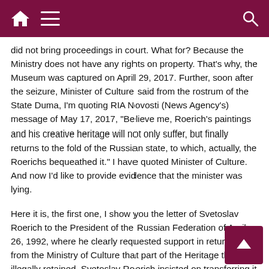Navigation header bar with home, menu, and search icons
did not bring proceedings in court. What for? Because the Ministry does not have any rights on property. That's why, the Museum was captured on April 29, 2017. Further, soon after the seizure, Minister of Culture said from the rostrum of the State Duma, I'm quoting RIA Novosti (News Agency's) message of May 17, 2017, "Believe me, Roerich's paintings and his creative heritage will not only suffer, but finally returns to the fold of the Russian state, to which, actually, the Roerichs bequeathed it." I have quoted Minister of Culture. And now I'd like to provide evidence that the minister was lying.
Here it is, the first one, I show you the letter of Svetoslav Roerich to the President of the Russian Federation of April 26, 1992, where he clearly requested support in returning from the Ministry of Culture that part of the Heritage that was illegally retained. Svetoslav Roerich insisted on transferring it to the International Center of the Roerichs.
Here is the second document, that is the letter of Svetoslav Roerich to Moscow Mayor Yuri Luzhkov of the same year of 1992, where he clearly claimed, "... In 1990, I handed over the legacy of my parents to the International Center of the Roerichs (former Soviet Foundation of